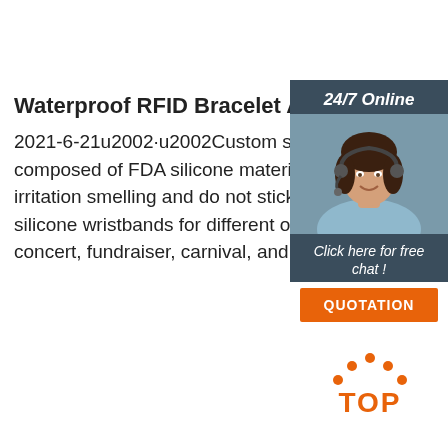Waterproof RFID Bracelet Adjustable Silicone Wrist...
2021-6-21u2002·u2002Custom silicone waterproof ... composed of FDA silicone material and rfid tag. Nor... irritation smelling and do not stick. We can offer vari... silicone wristbands for different occasions, such as ... concert, fundraiser, carnival, and exhibitions etc.
[Figure (photo): Customer service agent photo with 24/7 Online header, Click here for free chat, and QUOTATION button panel]
Get Price
[Figure (logo): TOP logo in orange with dots above forming a triangle/arch shape]